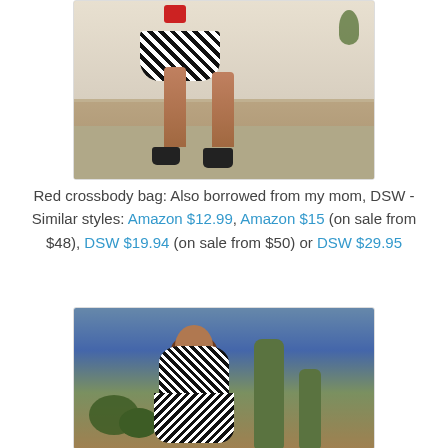[Figure (photo): Photo of a woman's lower body showing legs, black heeled sandals, black and white patterned skirt, and a red crossbody bag, standing in front of a garage]
Red crossbody bag: Also borrowed from my mom, DSW -Similar styles: Amazon $12.99, Amazon $15 (on sale from $48), DSW $19.94 (on sale from $50) or DSW $29.95
[Figure (photo): Photo of a woman from behind wearing a black and white patterned dress, standing outdoors with cacti and desert vegetation in the background]